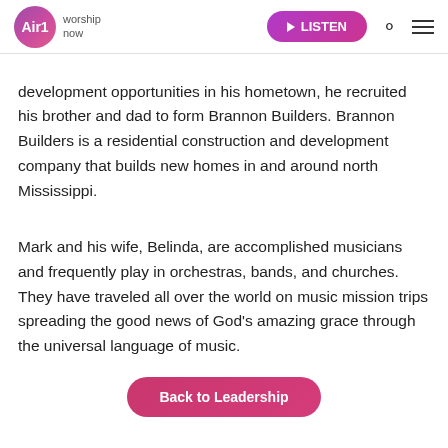Air1 worship now | LISTEN
development opportunities in his hometown, he recruited his brother and dad to form Brannon Builders. Brannon Builders is a residential construction and development company that builds new homes in and around north Mississippi.
Mark and his wife, Belinda, are accomplished musicians and frequently play in orchestras, bands, and churches. They have traveled all over the world on music mission trips spreading the good news of God's amazing grace through the universal language of music.
Back to Leadership